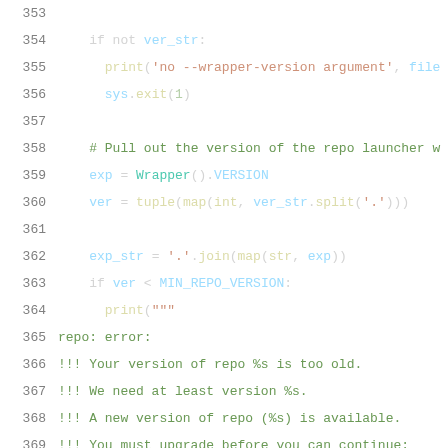Source code listing, lines 353-374, Python code for version checking logic